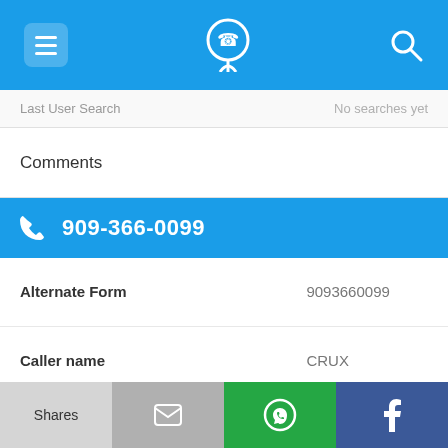Navigation bar with menu, phone/location icon, and search icon
Last User Search   No searches yet
Comments
909-366-0099
| Field | Value |
| --- | --- |
| Alternate Form | 9093660099 |
| Caller name | CRUX |
| URL | https://www.facebook.co... |
| Last User Search | No searches yet |
Shares | (email icon) | (WhatsApp icon) | (Facebook icon)